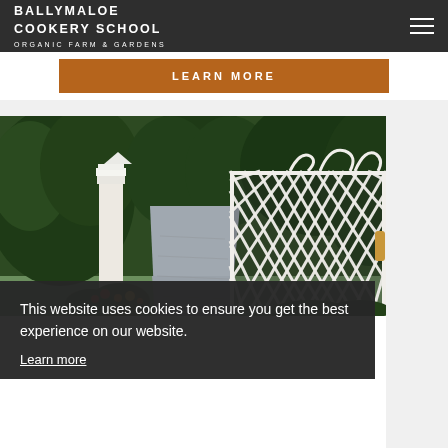BALLYMALOE COOKERY SCHOOL ORGANIC FARM & GARDENS
LEARN MORE
[Figure (photo): Garden scene with white lattice iron gate, gravel path, manicured hedges and flower borders]
This website uses cookies to ensure you get the best experience on our website. Learn more
Got it!